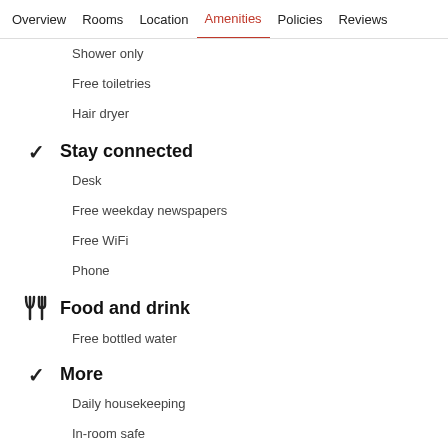Overview  Rooms  Location  Amenities  Policies  Reviews
Shower only
Free toiletries
Hair dryer
Stay connected
Desk
Free weekday newspapers
Free WiFi
Phone
Food and drink
Free bottled water
More
Daily housekeeping
In-room safe